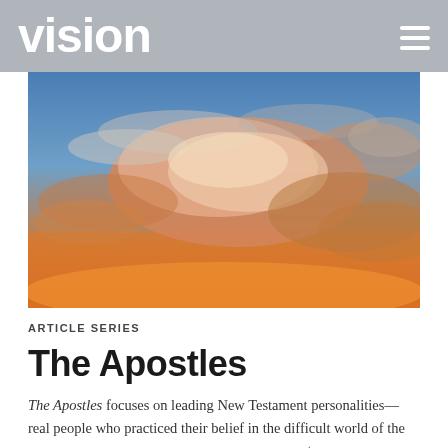vision
[Figure (photo): Dramatic sunset sky with orange-pink clouds against a blue sky background]
ARTICLE SERIES
The Apostles
The Apostles focuses on leading New Testament personalities—real people who practiced their belief in the difficult world of the Roman Empire while setting an example for 21st-century readers who